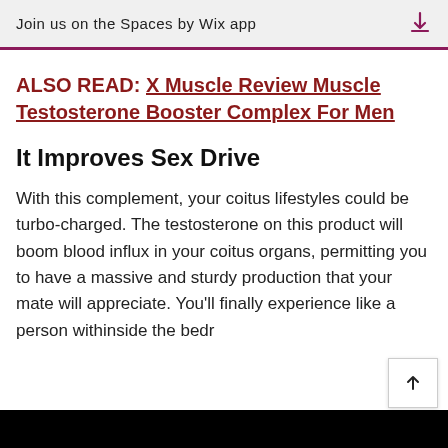Join us on the Spaces by Wix app
ALSO READ: X Muscle Review Muscle Testosterone Booster Complex For Men
It Improves Sex Drive
With this complement, your coitus lifestyles could be turbo-charged. The testosterone on this product will boom blood influx in your coitus organs, permitting you to have a massive and sturdy production that your mate will appreciate. You'll finally experience like a person withinside the bedr…